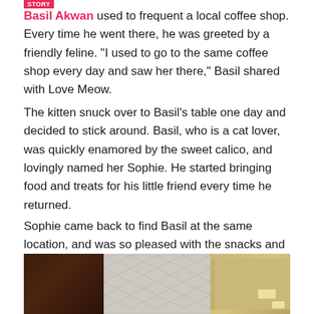Basil Akwan used to frequent a local coffee shop. Every time he went there, he was greeted by a friendly feline. "I used to go to the same coffee shop every day and saw her there," Basil shared with Love Meow.
The kitten snuck over to Basil's table one day and decided to stick around. Basil, who is a cat lover, was quickly enamored by the sweet calico, and lovingly named her Sophie. He started bringing food and treats for his little friend every time he returned.
Sophie came back to find Basil at the same location, and was so pleased with the snacks and all the pets she could get.
[Figure (photo): Photo showing three panels: left is a dark brown/maroon background, center shows a white geometric diamond-pattern wall tile, right shows a tan/gold wall surface with a small light fixture.]